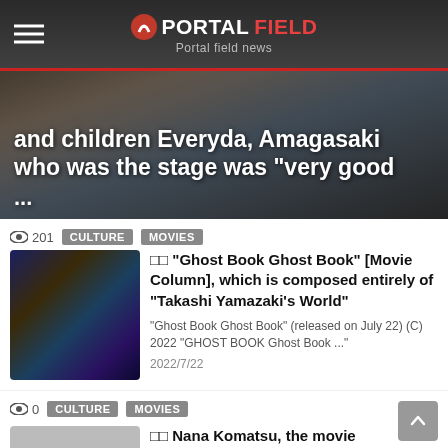PORTALFIELD - Portal field news
[Figure (screenshot): Hero banner image with people in costume, with overlaid headline text: 'and children Everyda, Amagasaki who was the stage was "very good ...']
201
CULTURE   MOVIES
[Figure (photo): Movie poster thumbnail for Ghost Book Ghost Book, showing group of children and magical book]
□□ "Ghost Book Ghost Book" [Movie Column], which is composed entirely of "Takashi Yamazaki's World"
"Ghost Book Ghost Book" (released on July 22) (C) 2022 "GHOST BOOK Ghost Book ..."
2022/7/22
0
CULTURE   MOVIES
[Figure (photo): Gray thumbnail image for second article]
□□ Nana Komatsu, the movie